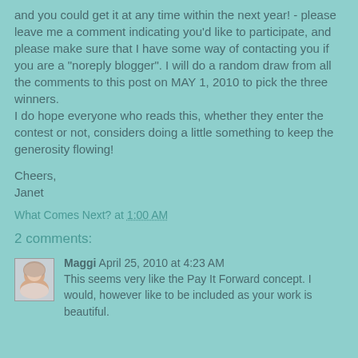and you could get it at any time within the next year! - please leave me a comment indicating you'd like to participate, and please make sure that I have some way of contacting you if you are a "noreply blogger". I will do a random draw from all the comments to this post on MAY 1, 2010 to pick the three winners.
I do hope everyone who reads this, whether they enter the contest or not, considers doing a little something to keep the generosity flowing!
Cheers,
Janet
What Comes Next? at 1:00 AM
2 comments:
[Figure (photo): Avatar photo of Maggi, a woman with short light hair]
Maggi April 25, 2010 at 4:23 AM
This seems very like the Pay It Forward concept. I would, however like to be included as your work is beautiful.